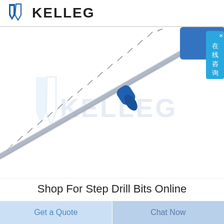[Figure (logo): KELLEG company logo with blue tie icon and bold dark text]
[Figure (photo): Product photo of a flexible drill bit extension with blue connector, silver coiled flexible shaft, and blue handle/end piece, on white background with KELLEG watermark. A blue chat overlay button with Chinese characters 在线咨询 appears on the right side.]
Shop For Step Drill Bits Online
Get a Quote
Chat Now